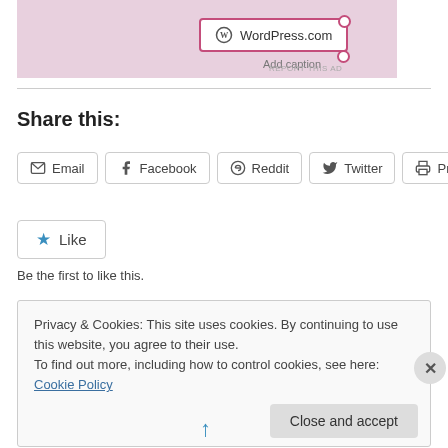[Figure (screenshot): WordPress.com ad widget with pink background, showing WordPress.com button with logo and 'Add caption' text below. REPORT THIS AD text visible.]
Share this:
Email
Facebook
Reddit
Twitter
Print
Like
Be the first to like this.
Privacy & Cookies: This site uses cookies. By continuing to use this website, you agree to their use.
To find out more, including how to control cookies, see here: Cookie Policy
Close and accept